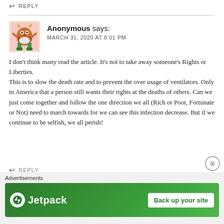↩ REPLY
Anonymous says:
MARCH 31, 2020 AT 8:01 PM
I don't think many read the article. It's not to take away someone's Rights or Liberties.
This is to slow the death rate and to prevent the over usage of ventilators. Only in America that a person still wants their rights at the deaths of others. Can we just come together and follow the one direction we all (Rich or Poor, Fortunate or Not) need to march towards for we can see this infection decrease. But if we continue to be selfish, we all perish!
↩ REPLY
Advertisements
[Figure (other): Jetpack advertisement banner with logo and 'Back up your site' button on green background]